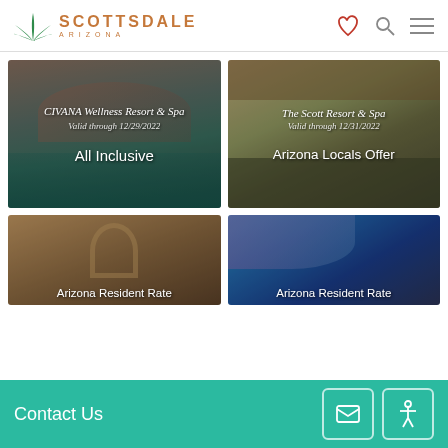[Figure (screenshot): Scottsdale Arizona tourism website header with agave plant logo, heart icon, search icon, and hamburger menu]
[Figure (photo): CIVANA Wellness Resort & Spa - couple relaxing by pool, card showing 'All Inclusive' deal valid through 12/29/2022]
[Figure (photo): The Scott Resort & Spa - resort outdoor area, card showing 'Arizona Locals Offer' valid through 12/31/2022]
[Figure (photo): Resort with arch architecture, partial card showing 'Arizona Resident Rate']
[Figure (photo): Colorful resort scene, partial card showing 'Arizona Resident Rate']
Contact Us